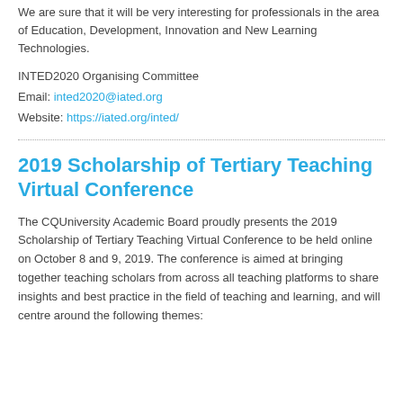We are sure that it will be very interesting for professionals in the area of Education, Development, Innovation and New Learning Technologies.
INTED2020 Organising Committee
Email: inted2020@iated.org
Website: https://iated.org/inted/
2019 Scholarship of Tertiary Teaching Virtual Conference
The CQUniversity Academic Board proudly presents the 2019 Scholarship of Tertiary Teaching Virtual Conference to be held online on October 8 and 9, 2019. The conference is aimed at bringing together teaching scholars from across all teaching platforms to share insights and best practice in the field of teaching and learning, and will centre around the following themes: